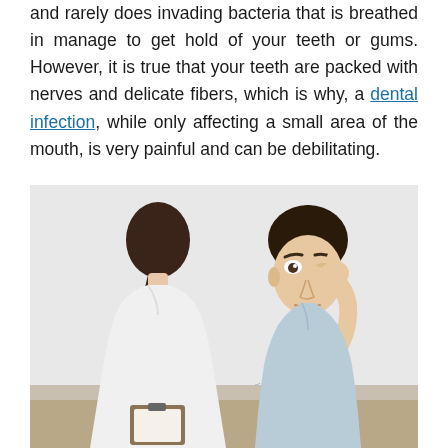and rarely does invading bacteria that is breathed in manage to get hold of your teeth or gums. However, it is true that your teeth are packed with nerves and delicate fibers, which is why, a dental infection, while only affecting a small area of the mouth, is very painful and can be debilitating.
[Figure (photo): A woman in a white coat (seen from behind, with dark hair in a ponytail, holding a clipboard) facing a young man in a light blue shirt who is touching his cheek/eye area, appearing to be in pain, sitting at a table in a clinical or consultation setting.]